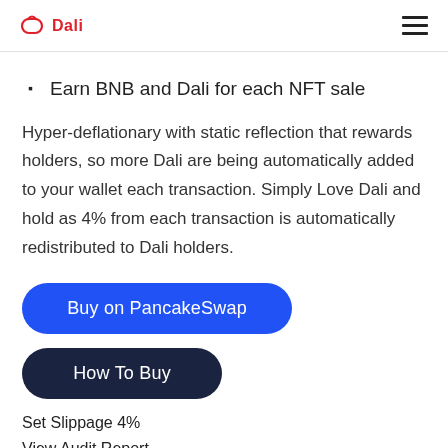Dali
Earn BNB and Dali for each NFT sale
Hyper-deflationary with static reflection that rewards holders, so more Dali are being automatically added to your wallet each transaction. Simply Love Dali and hold as 4% from each transaction is automatically redistributed to Dali holders.
Buy on PancakeSwap
How To Buy
Set Slippage 4%
View Audit Report